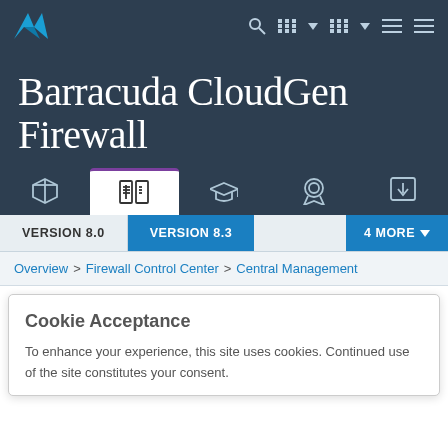Barracuda CloudGen Firewall — navigation bar with logo and icons
Barracuda CloudGen Firewall
[Figure (other): Tab icon bar with 5 icons: box/product, documentation/book (active, selected), graduation cap, award/badge, download arrow]
VERSION 8.0 | VERSION 8.3 | 4 MORE
Overview > Firewall Control Center > Central Management
Cookie Acceptance
To enhance your experience, this site uses cookies. Continued use of the site constitutes your consent.